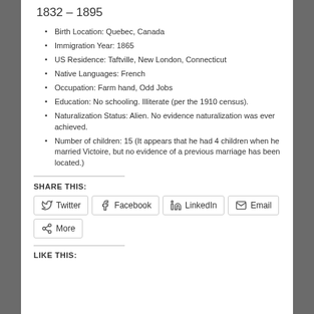1832 – 1895
Birth Location: Quebec, Canada
Immigration Year: 1865
US Residence: Taftville, New London, Connecticut
Native Languages: French
Occupation: Farm hand, Odd Jobs
Education: No schooling. Illiterate (per the 1910 census).
Naturalization Status: Alien. No evidence naturalization was ever achieved.
Number of children: 15 (It appears that he had 4 children when he married Victoire, but no evidence of a previous marriage has been located.)
SHARE THIS:
Twitter  Facebook  LinkedIn  Email  More
LIKE THIS: